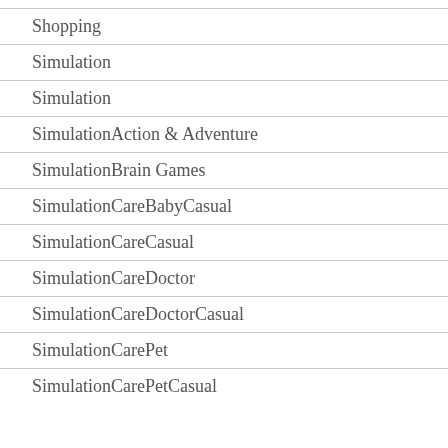Shopping
Simulation
Simulation
SimulationAction & Adventure
SimulationBrain Games
SimulationCareBabyCasual
SimulationCareCasual
SimulationCareDoctor
SimulationCareDoctorCasual
SimulationCarePet
SimulationCarePetCasual